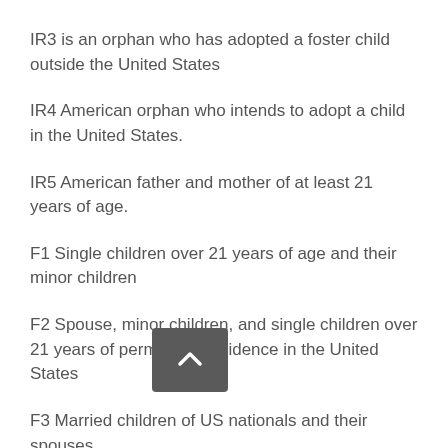IR3 is an orphan who has adopted a foster child outside the United States
IR4 American orphan who intends to adopt a child in the United States.
IR5 American father and mother of at least 21 years of age.
F1 Single children over 21 years of age and their minor children
F2 Spouse, minor children, and single children over 21 years of permanent residence in the United States
F3 Married children of US nationals and their spouses